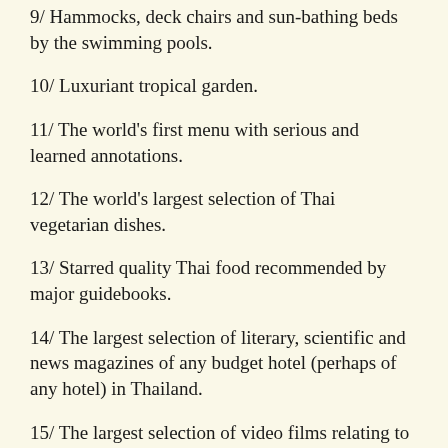9/ Hammocks, deck chairs and sun-bathing beds by the swimming pools.
10/ Luxuriant tropical garden.
11/ The world's first menu with serious and learned annotations.
12/ The world's largest selection of Thai vegetarian dishes.
13/ Starred quality Thai food recommended by major guidebooks.
14/ The largest selection of literary, scientific and news magazines of any budget hotel (perhaps of any hotel) in Thailand.
15/ The largest selection of video films relating to good food of any hotel or restaurant in Thailand.
16/ The largest selection of western-made films relating to or filmed in East Asia.
17/ The only budget hotel in Thailand to offer the use of a gym on the premises.
18/ Probably the only budget hotel in Thailand to have strongboxes in all bedrooms; one per